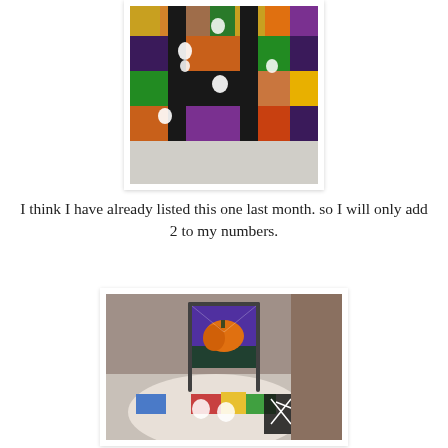[Figure (photo): A colorful Halloween-themed patchwork quilt with black, purple, orange, green, and yellow fabric patches and small white ghost/cat appliques, photographed on a light gray floor.]
I think I have already listed this one last month. so I will only add 2 to my numbers.
[Figure (photo): A Halloween decorative piece showing a metal easel holding a painted panel with an orange pumpkin on a purple/green background, placed on a circular patchwork quilt, with a black skeleton-themed item and a brown couch visible in the background.]